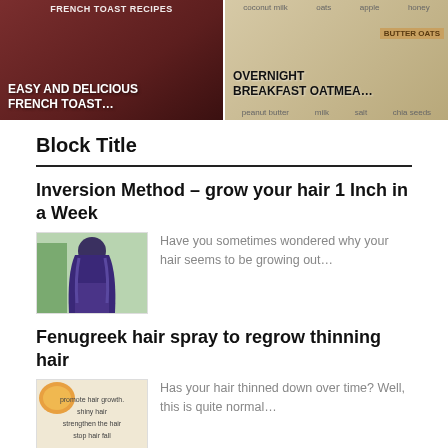[Figure (photo): Two food blog thumbnail images side by side: left is 'Easy and Delicious French Toast...' on dark red background, right is 'Overnight Breakfast Oatmea...' on beige/oat background with ingredient labels]
Block Title
Inversion Method – grow your hair 1 Inch in a Week
[Figure (photo): Back view of a person with long dark/blue-tinted hair outdoors]
Have you sometimes wondered why your hair seems to be growing out…
Fenugreek hair spray to regrow thinning hair
[Figure (photo): Infographic image about fenugreek hair spray with text: promote hair growth, shiny hair, strengthen the hair, stop hair fall]
Has your hair thinned down over time? Well, this is quite normal…